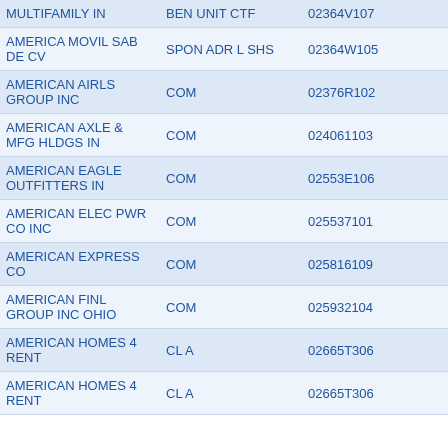| Name | Type | CUSIP | Shares |
| --- | --- | --- | --- |
| MULTIFAMILY IN | BEN UNIT CTF | 02364V107 | 164 |
| AMERICA MOVIL SAB DE CV | SPON ADR L SHS | 02364W105 | 1 |
| AMERICAN AIRLS GROUP INC | COM | 02376R102 | 33 |
| AMERICAN AXLE & MFG HLDGS IN | COM | 024061103 | 37 |
| AMERICAN EAGLE OUTFITTERS IN | COM | 02553E106 | 41 |
| AMERICAN ELEC PWR CO INC | COM | 025537101 | 1,242 |
| AMERICAN EXPRESS CO | COM | 025816109 | 376 |
| AMERICAN FINL GROUP INC OHIO | COM | 025932104 | 1 |
| AMERICAN HOMES 4 RENT | CL A | 02665T306 | 2 |
| AMERICAN HOMES 4 RENT | CL A | 02665T306 | 55 |